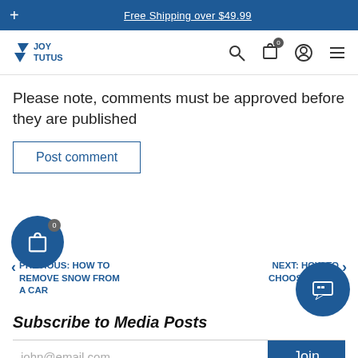Free Shipping over $49.99
[Figure (logo): JoyTutus logo with blue checkmark icon and navigation icons]
Please note, comments must be approved before they are published
Post comment
PREVIOUS: HOW TO REMOVE SNOW FROM A CAR
NEXT: HOW TO CHOOSE A CUP HOLDER
Subscribe to Media Posts
john@email.com
Join